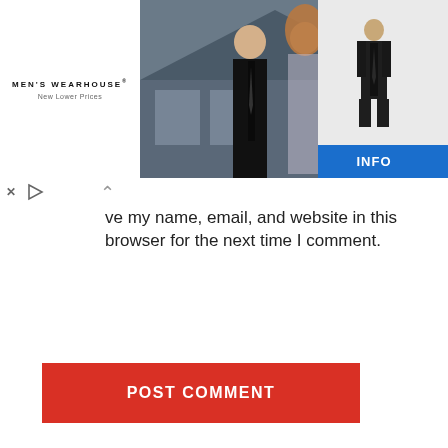[Figure (photo): Men's Wearhouse advertisement banner showing a couple in formal wear and a man in a suit, with an INFO button]
ve my name, email, and website in this browser for the next time I comment.
POST COMMENT
SEARCH
SEARCH ...
CATEGORIES
Auto